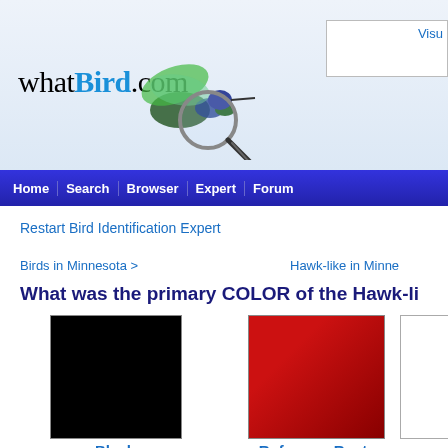whatBird.com
Home | Search | Browser | Expert | Forum
Restart Bird Identification Expert
Birds in Minnesota >
Hawk-like in Minne
What was the primary COLOR of the Hawk-li
[Figure (other): Black color swatch]
Black
[Figure (other): Rufous or Rust color swatch]
Rufous or Rust
[Figure (other): Brown color swatch]
Brown
[Figure (other): Gray color swatch]
Gray
Mississippi Kite
Mississippi Kite: Small kite, dark gray upperparts, pale gray underparts, pale gray patches. Tail is long and black. Feeds on large flying insects,